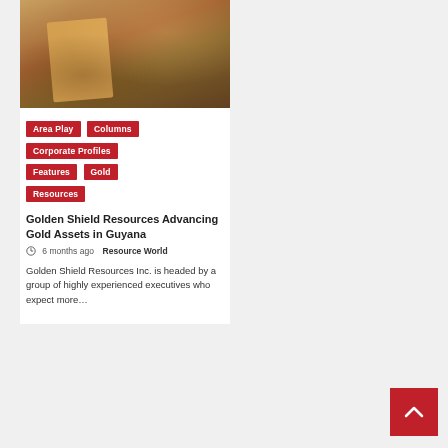[Figure (photo): Workers at a mining drill site with reddish-brown earth, a red bucket visible, and metal drill equipment]
Area Play
Columns
Corporate Profiles
Features
Gold
Resources
Golden Shield Resources Advancing Gold Assets in Guyana
6 months ago   Resource World
Golden Shield Resources Inc. is headed by a group of highly experienced executives who expect more...